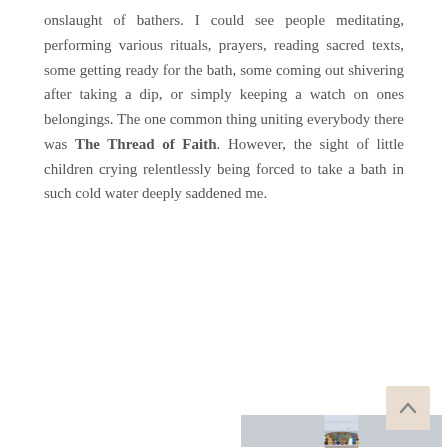onslaught of bathers. I could see people meditating, performing various rituals, prayers, reading sacred texts, some getting ready for the bath, some coming out shivering after taking a dip, or simply keeping a watch on ones belongings. The one common thing uniting everybody there was The Thread of Faith. However, the sight of little children crying relentlessly being forced to take a bath in such cold water deeply saddened me.
[Figure (photo): Large crowd of people gathered at a riverbank or ghat, densely packed pilgrims with a misty sky and water body visible in the background, featuring colorful clothing and flags in the distance.]